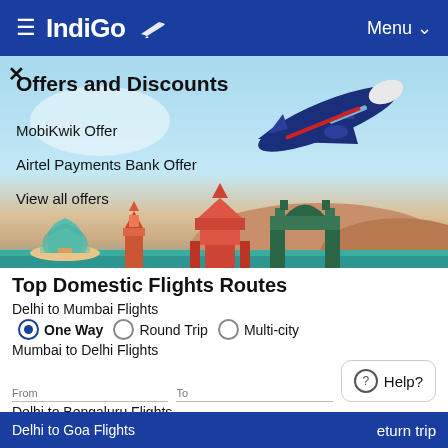≡ IndiGo ✈ Menu ∨
[Figure (illustration): IndiGo airline banner with illustrated Indian landmarks skyline (Lotus Temple, Gateway of India, etc.) and an airplane flying overhead. Text overlay shows Offers and Discounts section with MobiKwik Offer, Airtel Payments Bank Offer, and View all offers links.]
Offers and Discounts
MobiKwik Offer
Airtel Payments Bank Offer
View all offers
Top Domestic Flights Routes
Delhi to Mumbai Flights
● One Way  ○ Round Trip  ○ Multi-city
Mumbai to Delhi Flights
From: HBX  To: COK
Delhi to Bengaluru Flights
Bengaluru to Mumbai Flights
Departure Date
Delhi to Goa Flights
eturn trip